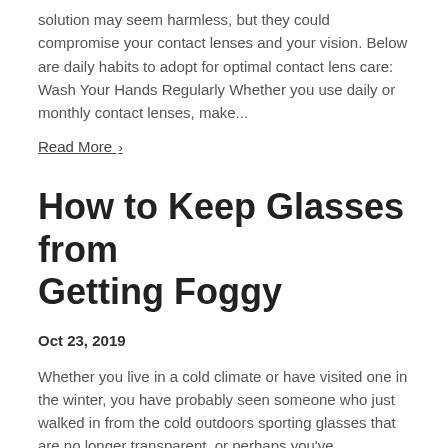solution may seem harmless, but they could compromise your contact lenses and your vision. Below are daily habits to adopt for optimal contact lens care: Wash Your Hands Regularly Whether you use daily or monthly contact lenses, make...
Read More ›
How to Keep Glasses from Getting Foggy
Oct 23, 2019
Whether you live in a cold climate or have visited one in the winter, you have probably seen someone who just walked in from the cold outdoors sporting glasses that are no longer transparent, or perhaps you've experienced it yourself. Why Do Glasses Fog Up? There are several factors that...
Read More ›
12 Tips for Optimal Eye Health